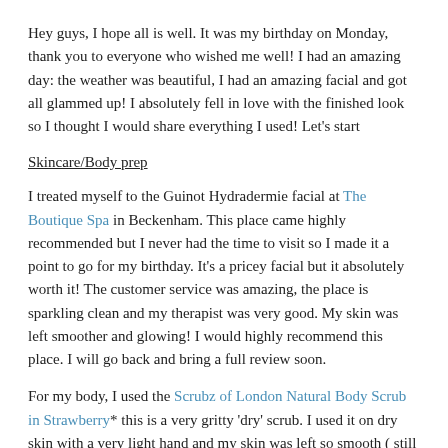Hey guys, I hope all is well. It was my birthday on Monday, thank you to everyone who wished me well! I had an amazing day: the weather was beautiful, I had an amazing facial and got all glammed up! I absolutely fell in love with the finished look so I thought I would share everything I used! Let's start
Skincare/Body prep
I treated myself to the Guinot Hydradermie facial at The Boutique Spa in Beckenham. This place came highly recommended but I never had the time to visit so I made it a point to go for my birthday. It's a pricey facial but it absolutely worth it! The customer service was amazing, the place is sparkling clean and my therapist was very good. My skin was left smoother and glowing! I would highly recommend this place. I will go back and bring a full review soon.
For my body, I used the Scrubz of London Natural Body Scrub in Strawberry* this is a very gritty 'dry' scrub. I used it on dry skin with a very light hand and my skin was left so smooth ( still smooth!) and soft! I was surprised it didn't leave my skin